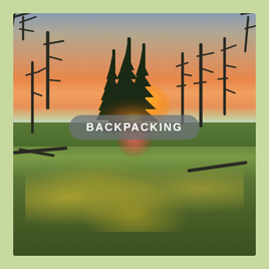[Figure (photo): Outdoor backpacking scene: a sunset or sunrise landscape with silhouetted dead trees scattered across a hillside covered in dense low shrubs and golden vegetation. An orange sun glows near the horizon through the trees, with mist or sea visible in the background. A lens flare effect appears below the sun. Centered on the image is a rounded pill-shaped button with semi-transparent gray background and white uppercase text reading 'BACKPACKING'. The photo is framed by a light green border.]